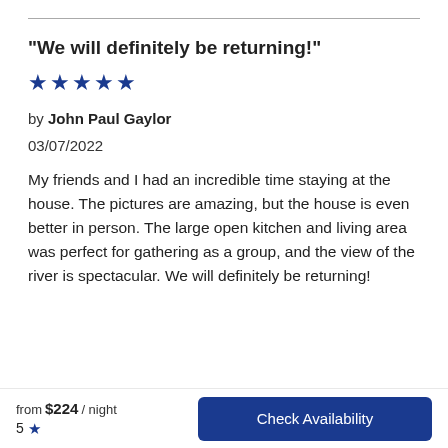"We will definitely be returning!"
[Figure (illustration): Five blue star rating icons]
by John Paul Gaylor
03/07/2022
My friends and I had an incredible time staying at the house. The pictures are amazing, but the house is even better in person. The large open kitchen and living area was perfect for gathering as a group, and the view of the river is spectacular. We will definitely be returning!
from $224 / night  5 ★  Check Availability